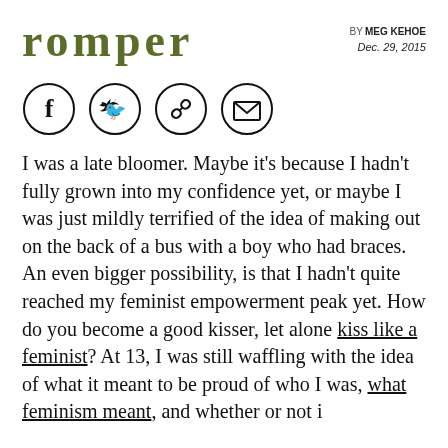romper
by MEG KEHOE
Dec. 29, 2015
[Figure (other): Social sharing icons: Facebook, Twitter, Link/chain, Email/envelope]
I was a late bloomer. Maybe it's because I hadn't fully grown into my confidence yet, or maybe I was just mildly terrified of the idea of making out on the back of a bus with a boy who had braces. An even bigger possibility, is that I hadn't quite reached my feminist empowerment peak yet. How do you become a good kisser, let alone kiss like a feminist? At 13, I was still waffling with the idea of what it meant to be proud of who I was, what feminism meant, and whether or not i...